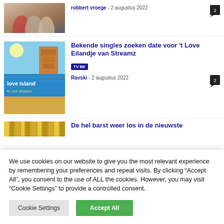[Figure (photo): Partial view of people with bags, cropped at top]
robbert vroege - 2 augustus 2022
[Figure (photo): Love Island TV show promotional image with beach and MAS building in Antwerp]
Bekende singles zoeken date voor 't Love Eilandje van Streamz
TV BE
Ravski - 2 augustus 2022
[Figure (photo): Partially visible golden/brown textured image strip]
De hel barst weer los in de nieuwste
We use cookies on our website to give you the most relevant experience by remembering your preferences and repeat visits. By clicking "Accept All", you consent to the use of ALL the cookies. However, you may visit "Cookie Settings" to provide a controlled consent.